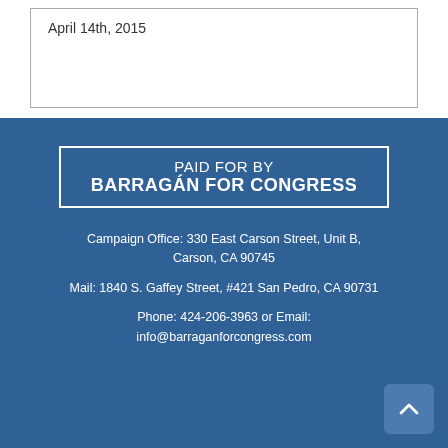April 14th, 2015
PAID FOR BY BARRAGÁN FOR CONGRESS
Campaign Office: 330 East Carson Street, Unit B, Carson, CA 90745
Mail: 1840 S. Gaffey Street, #421 San Pedro, CA 90731
Phone: 424-206-3963 or Email: info@barraganforcongress.com